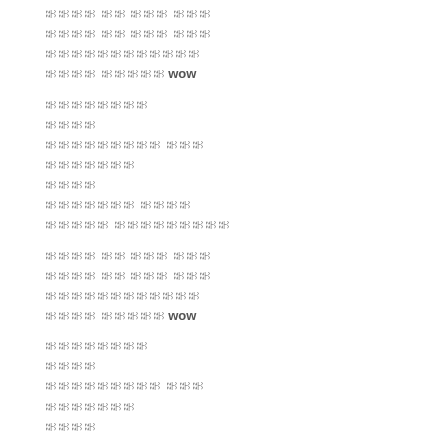ꀀꀀꀀꀀ ꀀꀀ ꀀꀀꀀ ꀀꀀꀀ
ꀀꀀꀀꀀ ꀀꀀ ꀀꀀꀀ ꀀꀀꀀ
ꀀꀀꀀꀀꀀꀀꀀꀀꀀꀀꀀꀀ
ꀀꀀꀀꀀ ꀀꀀꀀꀀꀀ wow
ꀀꀀꀀꀀꀀꀀꀀꀀ
ꀀꀀꀀꀀ
ꀀꀀꀀꀀꀀꀀꀀꀀꀀ ꀀꀀꀀ
ꀀꀀꀀꀀꀀꀀꀀ
ꀀꀀꀀꀀ
ꀀꀀꀀꀀꀀꀀꀀ ꀀꀀꀀꀀ
ꀀꀀꀀꀀꀀ ꀀꀀꀀꀀꀀꀀꀀꀀꀀ
ꀀꀀꀀꀀ ꀀꀀ ꀀꀀꀀ ꀀꀀꀀ
ꀀꀀꀀꀀ ꀀꀀ ꀀꀀꀀ ꀀꀀꀀ
ꀀꀀꀀꀀꀀꀀꀀꀀꀀꀀꀀꀀ
ꀀꀀꀀꀀ ꀀꀀꀀꀀꀀ wow
ꀀꀀꀀꀀꀀꀀꀀꀀ
ꀀꀀꀀꀀ
ꀀꀀꀀꀀꀀꀀꀀꀀꀀ ꀀꀀꀀ
ꀀꀀꀀꀀꀀꀀꀀ
ꀀꀀꀀꀀ